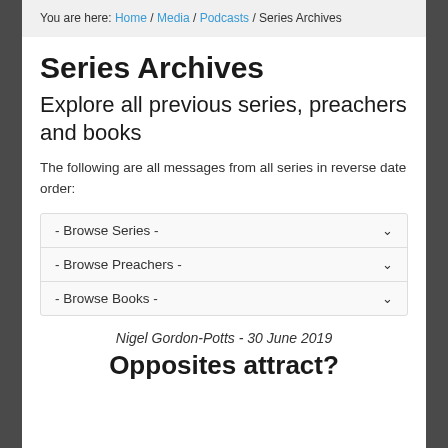You are here: Home / Media / Podcasts / Series Archives
Series Archives
Explore all previous series, preachers and books
The following are all messages from all series in reverse date order:
- Browse Series -
- Browse Preachers -
- Browse Books -
Nigel Gordon-Potts - 30 June 2019
Opposites attract?